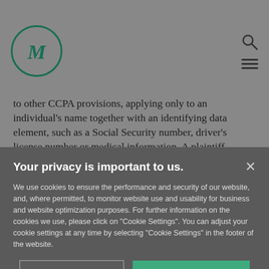M logo and navigation icons
to other CCPA provisions, applying only to an individual's name together with an identifying data element, such as a Social Security number, driver's license number or medical information. A plaintiff
Your privacy is important to us.
We use cookies to ensure the performance and security of our website, and, where permitted, to monitor website use and usability for business and website optimization purposes. For further information on the cookies we use, please click on "Cookie Settings". You can adjust your cookie settings at any time by selecting "Cookie Settings" in the footer of the website.
Cookie Settings | Accept All Cookies